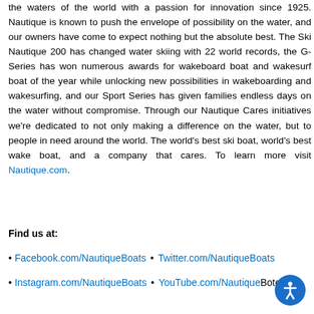the waters of the world with a passion for innovation since 1925. Nautique is known to push the envelope of possibility on the water, and our owners have come to expect nothing but the absolute best. The Ski Nautique 200 has changed water skiing with 22 world records, the G-Series has won numerous awards for wakeboard boat and wakesurf boat of the year while unlocking new possibilities in wakeboarding and wakesurfing, and our Sport Series has given families endless days on the water without compromise. Through our Nautique Cares initiatives we're dedicated to not only making a difference on the water, but to people in need around the world. The world's best ski boat, world's best wake boat, and a company that cares. To learn more visit Nautique.com.
Find us at:
• Facebook.com/NautiqueBoats • Twitter.com/NautiqueBoats
• Instagram.com/NautiqueBoats • YouTube.com/NautiqueBoats